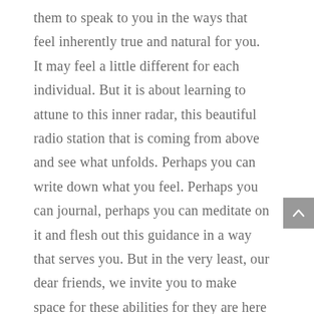them to speak to you in the ways that feel inherently true and natural for you. It may feel a little different for each individual. But it is about learning to attune to this inner radar, this beautiful radio station that is coming from above and see what unfolds. Perhaps you can write down what you feel. Perhaps you can journal, perhaps you can meditate on it and flesh out this guidance in a way that serves you. But in the very least, our dear friends, we invite you to make space for these abilities for they are here to serve and assist you.